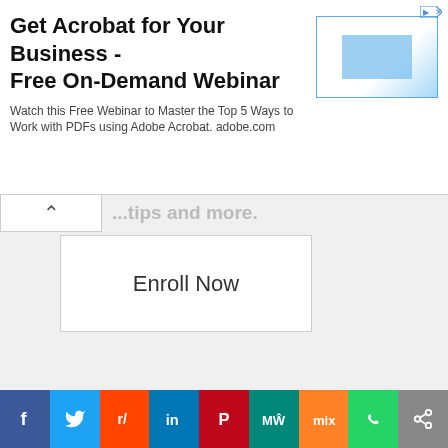[Figure (screenshot): Advertisement banner: 'Get Acrobat for Your Business - Free On-Demand Webinar' with subtitle text and a blue image placeholder on the right. Small ad icon in top-right corner.]
...tips and more.
Enroll Now
[Figure (screenshot): Social sharing bar with icons: Facebook, Twitter, Reddit, LinkedIn, Pinterest, MeWe, Mix, WhatsApp, Share]